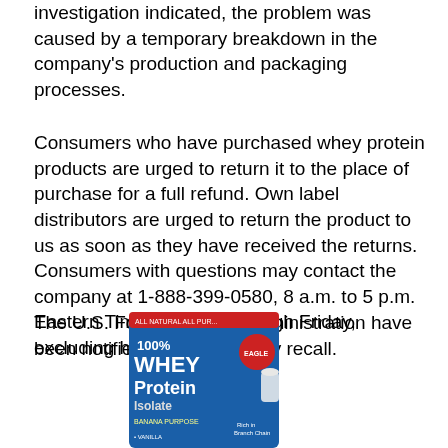investigation indicated, the problem was caused by a temporary breakdown in the company's production and packaging processes.
Consumers who have purchased whey protein products are urged to return it to the place of purchase for a full refund. Own label distributors are urged to return the product to us as soon as they have received the returns. Consumers with questions may contact the company at 1-888-399-0580, 8 a.m. to 5 p.m. Eastern Time, Monday through Friday, excluding holidays.
The U.S. Food and Drug Administration have been notified of this voluntary recall.
[Figure (photo): Product image of 100% Whey Protein Isolate package, blue packaging with banana purpose flavor label and an eagle logo, showing a shake glass on the right side.]